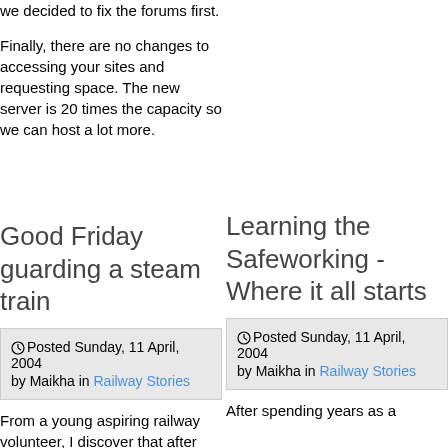we decided to fix the forums first.
Finally, there are no changes to accessing your sites and requesting space. The new server is 20 times the capacity so we can host a lot more.
Good Friday guarding a steam train
Posted Sunday, 11 April, 2004 by Maikha in Railway Stories
From a young aspiring railway volunteer, I discover that after being initially shown the...
Learning the Safeworking - Where it all starts
Posted Sunday, 11 April, 2004 by Maikha in Railway Stories
After spending years as a...